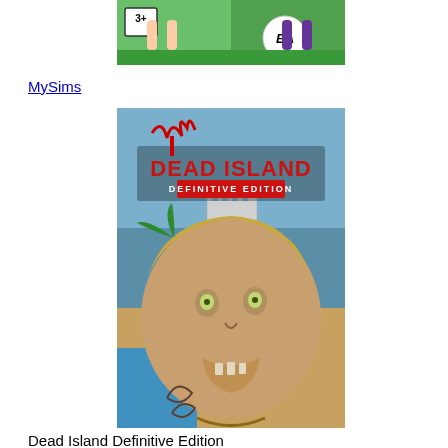[Figure (photo): MySims video game box art showing colorful cartoon characters on a green background with a 3+ age rating and EA logo]
MySims
[Figure (photo): Dead Island Definitive Edition video game box art showing a zombie face close-up with palm trees and a beach resort in the background, with the game title in red letters]
Dead Island Definitive Edition